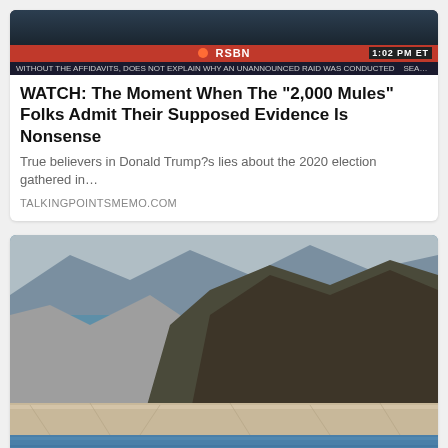[Figure (screenshot): RSBN news broadcast screenshot showing a red bar with RSBN logo and time 1:02 PM ET, with a dark ticker below reading 'WITHOUT THE AFFIDAVITS, DOES NOT EXPLAIN WHY AN UNANNOUNCED RAID WAS CONDUCTED SEARCH WARRANT DETAILS']
WATCH: The Moment When The "2,000 Mules" Folks Admit Their Supposed Evidence Is Nonsense
True believers in Donald Trump?s lies about the 2020 election gathered in…
TALKINGPOINTSMEMO.COM
[Figure (photo): Photograph of a rocky mountain/cliff face beside blue water, showing a white mineral band (bathtub ring) indicating low water levels, likely Lake Mead on the Colorado River]
Four things to know about Colorado River water in California